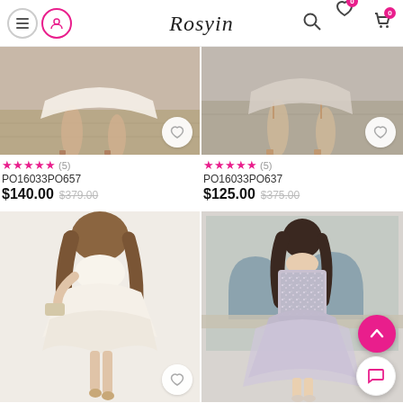Rosyin — navigation header with menu, user, search, wishlist (0), cart (0)
[Figure (photo): Top-left product: woman legs in heeled sandals, beige/cream dress, partial view — product listing photo]
★★★★★ (5)
PO16033PO657
$140.00  $379.00
[Figure (photo): Top-right product: woman legs in tan heeled sandals, grey/lavender dress, partial view — product listing photo]
★★★★★ (5)
PO16033PO637
$125.00  $375.00
[Figure (photo): Bottom-left product: woman wearing sleeveless white/cream flared mini dress holding clutch — product listing photo]
[Figure (photo): Bottom-right product: woman wearing sparkly sequined lavender/grey ball gown short dress — product listing photo]